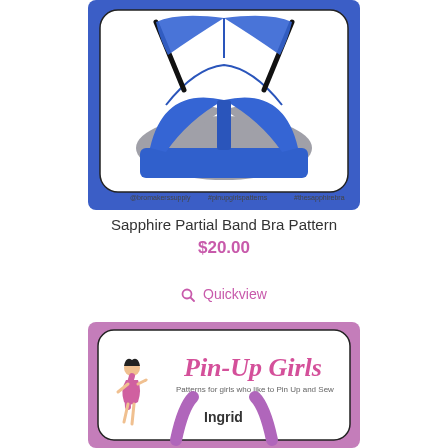[Figure (illustration): Sapphire Partial Band Bra illustration on blue background with hashtags @bromakerssupply #pinupgirlspatterns #thesapphirebra]
Sapphire Partial Band Bra Pattern
$20.00
🔍 Quickview
[Figure (illustration): Pin-Up Girls logo on pink/purple background with text 'Patterns for girls who like to Pin Up and Sew' and 'Ingrid']